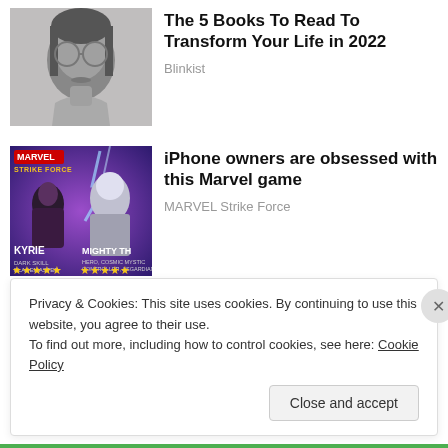[Figure (photo): Black and white photo of a young man with round glasses and long hair]
The 5 Books To Read To Transform Your Life in 2022
Blinkist
[Figure (photo): MARVEL Strike Force game promotional image with characters KYRIE and MIGHTY THO, purple/blue background with lightning effects and gold stars]
iPhone owners are obsessed with this Marvel game
MARVEL Strike Force
Privacy & Cookies: This site uses cookies. By continuing to use this website, you agree to their use.
To find out more, including how to control cookies, see here: Cookie Policy